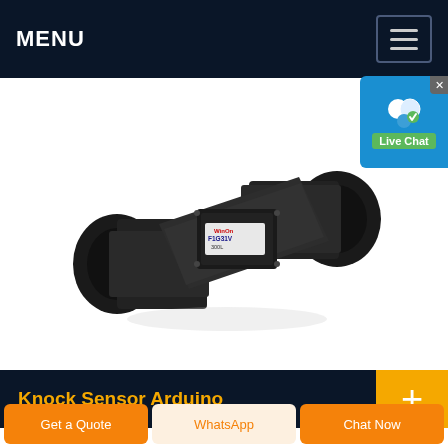MENU
[Figure (photo): A black flow sensor/pipe fitting device with two cylindrical pipe ends on left and right, and a rectangular black sensor module with a label reading 'F1G31V WinOn 300L' mounted in the center. The device is photographed on a white background at an angle.]
Knock Sensor Arduino
Get a Quote
WhatsApp
Chat Now